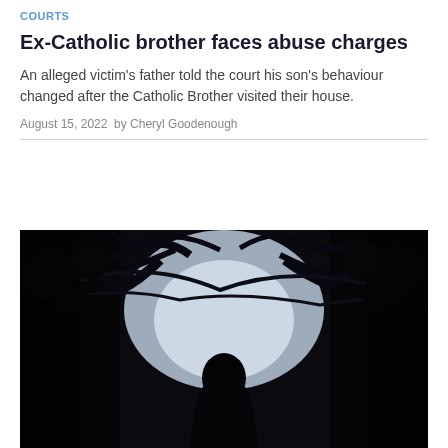COURTS
Ex-Catholic brother faces abuse charges
An alleged victim's father told the court his son's behaviour changed after the Catholic Brother visited their house.
August 15, 2022  by Cheryl Goodenough
[Figure (photo): Dramatic silhouette of a person standing among trees with light behind them, dark moody composition in black and white tones]